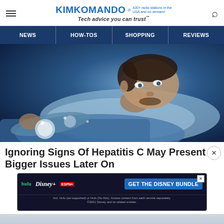KIM KOMANDO® 420+ radio stations in the USA and on demand Tech advice you can trust™
NEWS | HOW-TOS | SHOPPING | REVIEWS
[Figure (photo): Blue-tinted photo of a man lying in bed awake, resting his head on a pillow, with an alarm clock visible in the foreground.]
Ignoring Signs Of Hepatitis C May Present Bigger Issues Later On
[Figure (infographic): Advertisement banner for Disney Bundle featuring Hulu, Disney+, and ESPN+ logos with 'GET THE DISNEY BUNDLE' call to action. Fine print: Incl. Hulu (ad-supported) or Hulu (No Ads). Access content from each service separately. ©2021 Disney and its related entities.]